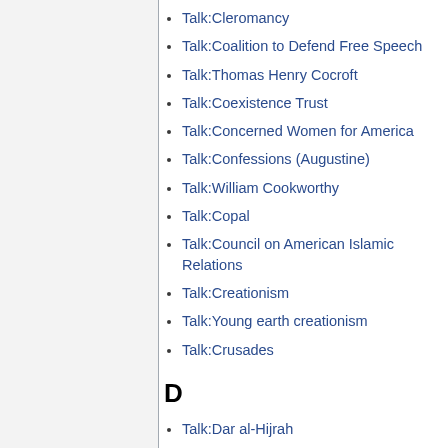Talk:Cleromancy
Talk:Coalition to Defend Free Speech
Talk:Thomas Henry Cocroft
Talk:Coexistence Trust
Talk:Concerned Women for America
Talk:Confessions (Augustine)
Talk:William Cookworthy
Talk:Copal
Talk:Council on American Islamic Relations
Talk:Creationism
Talk:Young earth creationism
Talk:Crusades
D
Talk:Dar al-Hijrah
Talk:Dar al-Islam
Talk:Lucy Dawidowicz
Talk:Richard Dawkins